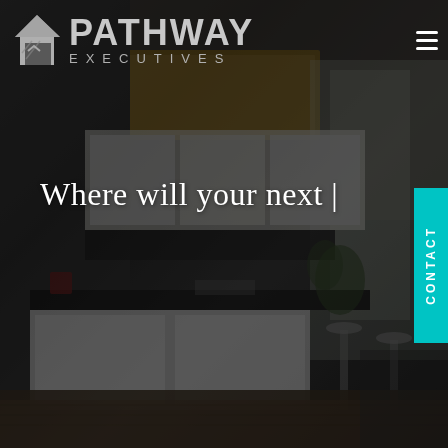[Figure (photo): Interior of a modern luxury kitchen with dark countertops, white cabinetry, bar stools, and open floor plan with large windows. Dimly lit with dark overlay for website hero image.]
PATHWAY EXECUTIVES
Where will your next |
CONTACT